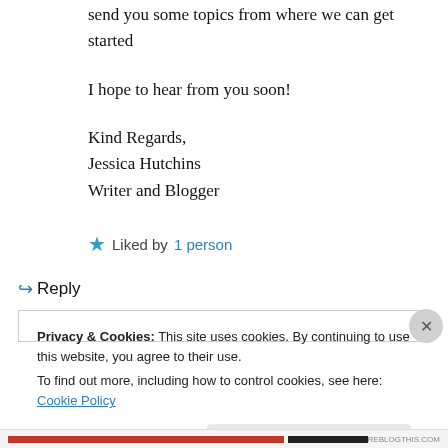send you some topics from where we can get started
I hope to hear from you soon!
Kind Regards,
Jessica Hutchins
Writer and Blogger
★ Liked by 1 person
↵ Reply
Privacy & Cookies: This site uses cookies. By continuing to use this website, you agree to their use.
To find out more, including how to control cookies, see here: Cookie Policy
Close and accept